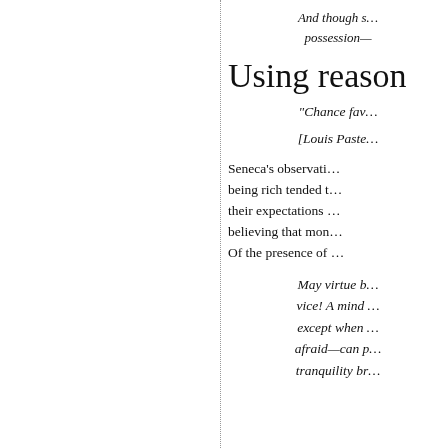And though s… possession—
Using reaso…
“Chance fav…
[Louis Paste…
Seneca's observati… being rich tended t… their expectations … believing that mon… Of the presence of …
May virtue b… vice! A mind … except when … afraid—can p… tranquility br…